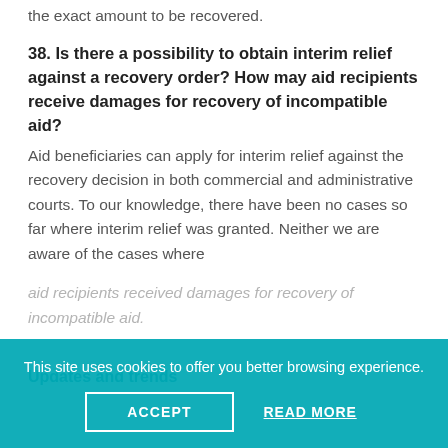the exact amount to be recovered.
38. Is there a possibility to obtain interim relief against a recovery order? How may aid recipients receive damages for recovery of incompatible aid?
Aid beneficiaries can apply for interim relief against the recovery decision in both commercial and administrative courts. To our knowledge, there have been no cases so far where interim relief was granted. Neither we are aware of the cases where aid recipients received damages for recovery of incompatible aid.
Updates and trends
This site uses cookies to offer you better browsing experience.